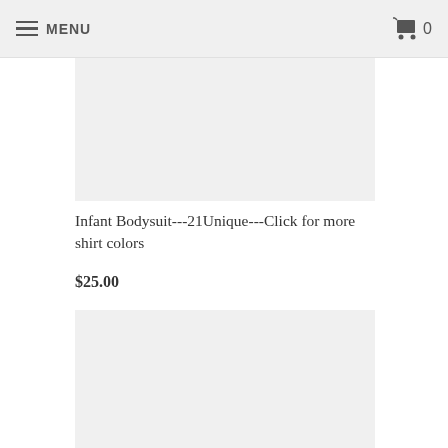MENU  0
[Figure (photo): Product image placeholder - light gray rectangle for infant bodysuit product]
Infant Bodysuit---21Unique---Click for more shirt colors
$25.00
[Figure (photo): Product image placeholder - light gray rectangle for second product]